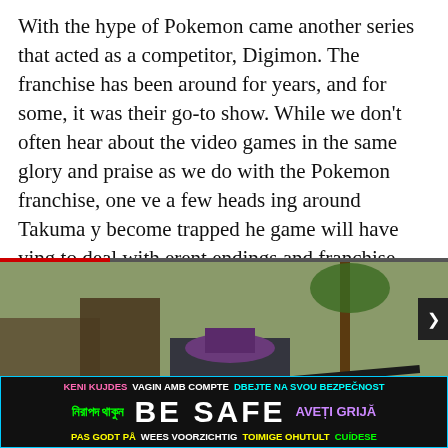With the hype of Pokemon came another series that acted as a competitor, Digimon. The franchise has been around for years, and for some, it was their go-to show. While we don't often hear about the video games in the same glory and praise as we do with the Pokemon franchise, one [obscured] ve a few heads [obscured] ing around Takuma [obscured] y become trapped [obscured] he game will have [obscured] ying to deal with [obscured] erent endings and [obscured] franchise, this is [obscured] f you're new to the [obscured] fun out of the game when it eventually releases sometime this year.
[Figure (screenshot): Video player popup overlay showing a Call of Duty: Warzone action scene with a character in a fedora running with a weapon. Red progress bar at top, X close button, dots menu, red play/next arrow button, and Warzone logo bottom right. Article title overlay: 'Call of Duty: Warzone- What isthenew Rage SerumField UpgradeinSeason Five? - Gameranx']
[Figure (infographic): BE SAFE multilingual safety banner with cyan border on dark background. Top row: 'KENI KUJDES' (pink), 'VAGIN AMB COMPTE' (white), 'DBEJTE NA SVOU BEZPECNOST' (cyan). Middle: Bengali text (green), 'BE SAFE' (large white bold), 'AVETI GRIJA' (purple). Bottom: 'PAS GODT PA' (yellow), 'WEES VOORZICHTIG' (white), 'TOIMIGE OHUTULT' (yellow), 'CUIDESE' (green).]